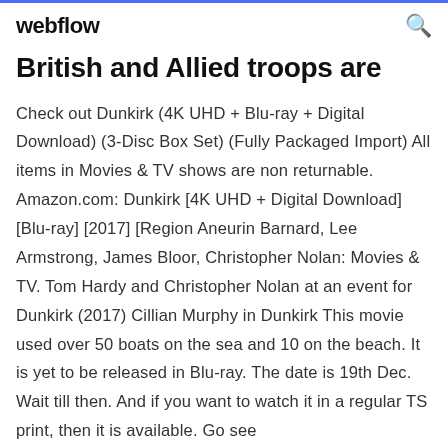webflow
British and Allied troops are
Check out Dunkirk (4K UHD + Blu-ray + Digital Download) (3-Disc Box Set) (Fully Packaged Import) All items in Movies & TV shows are non returnable. Amazon.com: Dunkirk [4K UHD + Digital Download] [Blu-ray] [2017] [Region Aneurin Barnard, Lee Armstrong, James Bloor, Christopher Nolan: Movies & TV. Tom Hardy and Christopher Nolan at an event for Dunkirk (2017) Cillian Murphy in Dunkirk This movie used over 50 boats on the sea and 10 on the beach. It is yet to be released in Blu-ray. The date is 19th Dec. Wait till then. And if you want to watch it in a regular TS print, then it is available. Go see